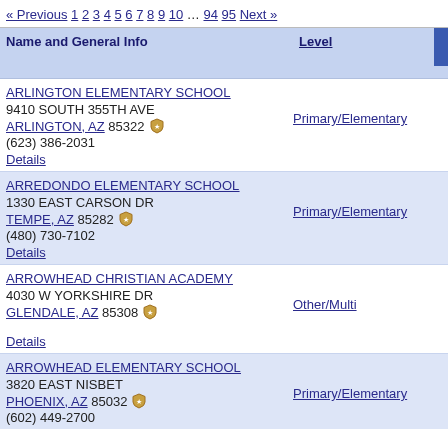« Previous 1 2 3 4 5 6 7 8 9 10 … 94 95 Next »
| Name and General Info | Level |  |
| --- | --- | --- |
| ARLINGTON ELEMENTARY SCHOOL
9410 SOUTH 355TH AVE
ARLINGTON, AZ 85322
(623) 386-2031
Details | Primary/Elementary |  |
| ARREDONDO ELEMENTARY SCHOOL
1330 EAST CARSON DR
TEMPE, AZ 85282
(480) 730-7102
Details | Primary/Elementary |  |
| ARROWHEAD CHRISTIAN ACADEMY
4030 W YORKSHIRE DR
GLENDALE, AZ 85308

Details | Other/Multi |  |
| ARROWHEAD ELEMENTARY SCHOOL
3820 EAST NISBET
PHOENIX, AZ 85032
(602) 449-2700 | Primary/Elementary |  |